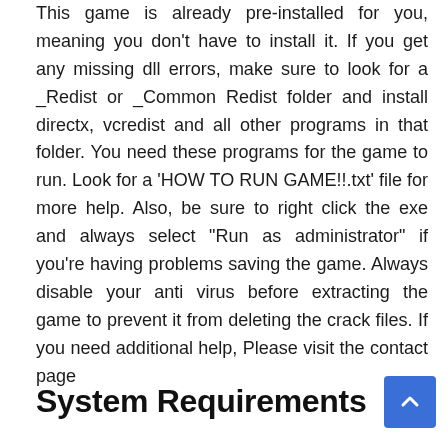This game is already pre-installed for you, meaning you don't have to install it. If you get any missing dll errors, make sure to look for a _Redist or _Common Redist folder and install directx, vcredist and all other programs in that folder. You need these programs for the game to run. Look for a 'HOW TO RUN GAME!!.txt' file for more help. Also, be sure to right click the exe and always select "Run as administrator" if you're having problems saving the game. Always disable your anti virus before extracting the game to prevent it from deleting the crack files. If you need additional help, Please visit the contact page
System Requirements